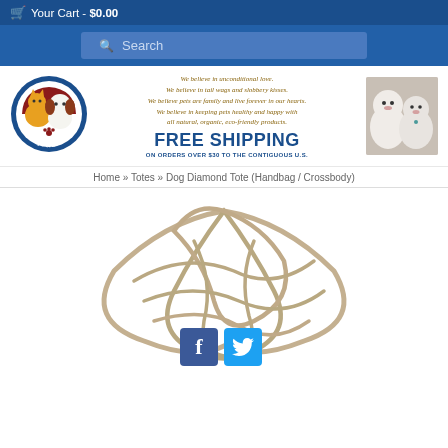Your Cart - $0.00
Search
[Figure (logo): Quality Pet Lovers Market circular logo with cat and dog illustration]
We believe in unconditional love. We believe in tail wags and slobbery kisses. We believe pets are family and live forever in our hearts. We believe in keeping pets healthy and happy with all natural, organic, eco-friendly products. FREE SHIPPING ON ORDERS OVER $30 TO THE CONTIGUOUS U.S.
[Figure (photo): Two white fluffy dogs (Maltese or similar) side by side]
Home » Totes » Dog Diamond Tote (Handbag / Crossbody)
[Figure (photo): Twisted silver/beige rope or cord arranged in a diamond tote bag shape on white background, with Facebook and Twitter social share buttons overlaid at bottom]